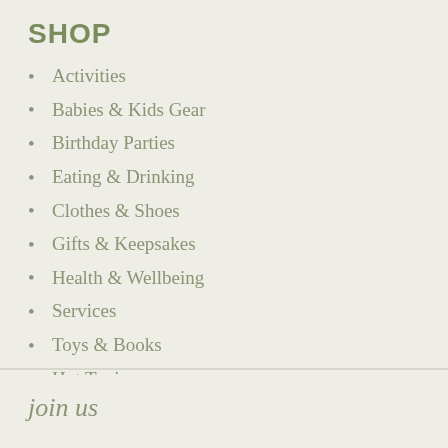SHOP
Activities
Babies & Kids Gear
Birthday Parties
Eating & Drinking
Clothes & Shoes
Gifts & Keepsakes
Health & Wellbeing
Services
Toys & Books
Hot Topics
join us